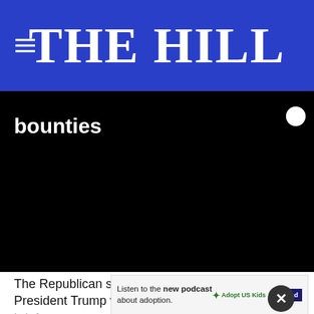THE HILL
bounties
[Figure (screenshot): Black video player area]
The Republican super PAC the Lincoln Project hit President Trump with a campaign relea... briefe...
[Figure (infographic): Ad banner: Listen to the new podcast about adoption. Adopt US Kids logo and ad badge.]